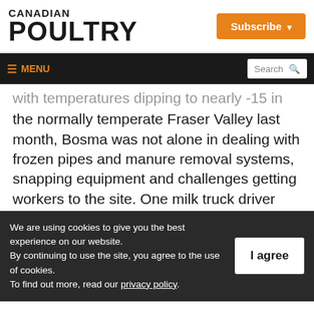CANADIAN POULTRY | Subscribe
≡ MENU | Search
with temperatures dipping to nearly -15 in the normally temperate Fraser Valley last month, Bosma was not alone in dealing with frozen pipes and manure removal systems, snapping equipment and challenges getting workers to the site. One milk truck driver told Bosma it took 12 hours to get the milk lines on
We are using cookies to give you the best experience on our website.
By continuing to use the site, you agree to the use of cookies.
To find out more, read our privacy policy.